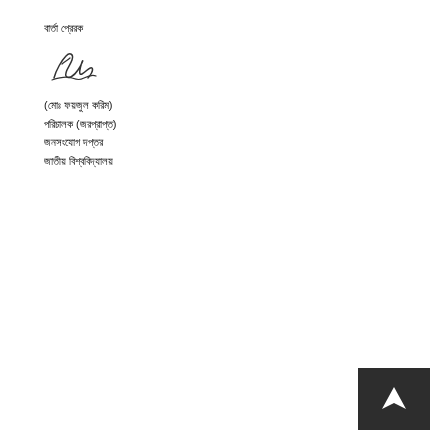বার্তা প্রেরক
[Figure (other): Handwritten signature]
(মোঃ ফয়জুল করিম)
পরিচালক (জরপ্রাপ্ত)
জনসংযোগ দপ্তর
জাতীয় বিশ্ববিদ্যালয়
[Figure (other): Navigation arrow button pointing up-right]